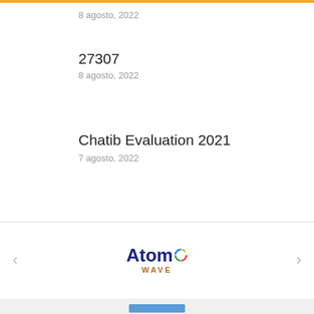8 agosto, 2022
27307
8 agosto, 2022
Chatib Evaluation 2021
7 agosto, 2022
[Figure (logo): Atomo Wave logo with colorful circular O and WAVE subtitle]